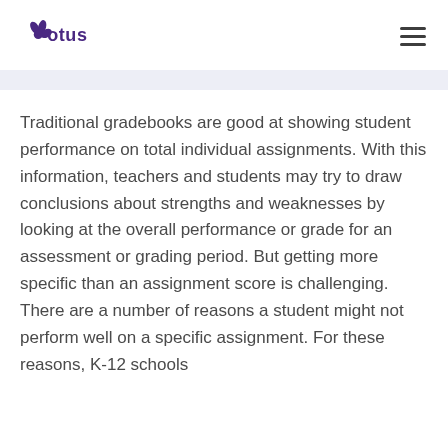Otus
Traditional gradebooks are good at showing student performance on total individual assignments. With this information, teachers and students may try to draw conclusions about strengths and weaknesses by looking at the overall performance or grade for an assessment or grading period. But getting more specific than an assignment score is challenging. There are a number of reasons a student might not perform well on a specific assignment. For these reasons, K-12 schools